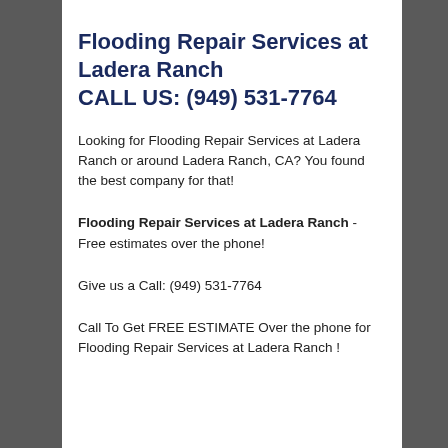Flooding Repair Services at Ladera Ranch CALL US: (949) 531-7764
Looking for Flooding Repair Services at Ladera Ranch or around Ladera Ranch, CA? You found the best company for that!
Flooding Repair Services at Ladera Ranch - Free estimates over the phone!
Give us a Call: (949) 531-7764
Call To Get FREE ESTIMATE Over the phone for Flooding Repair Services at Ladera Ranch !